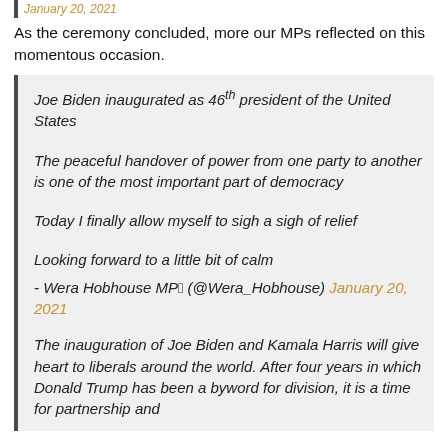As the ceremony concluded, more our MPs reflected on this momentous occasion.
Joe Biden inaugurated as 46th president of the United States
The peaceful handover of power from one party to another is one of the most important part of democracy
Today I finally allow myself to sigh a sigh of relief
Looking forward to a little bit of calm
- Wera Hobhouse MP🏿 (@Wera_Hobhouse) January 20, 2021
The inauguration of Joe Biden and Kamala Harris will give heart to liberals around the world. After four years in which Donald Trump has been a byword for division, it is a time for partnership and